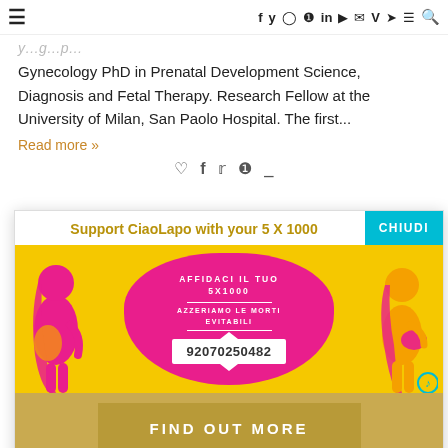≡   f  𝕥  ○  ℗  in  ▶  ✉  V  ➤  ☰  🔍
Gynecology PhD in Prenatal Development Science, Diagnosis and Fetal Therapy. Research Fellow at the University of Milan, San Paolo Hospital. The first...
Read more »
[Figure (infographic): Promotional banner for CiaoLapo 5x1000 donation campaign. Yellow background with pink blob shape in center containing Italian text 'AFFIDACI IL TUO 5X1000' and 'AZZERIAMO LE MORTI EVITABILI' with tax code 92070250482. Two illustrated pregnant women figures on left and right. Cyan 'CHIUDI' button top right. Title: 'Support CiaoLapo with your 5 X 1000'. Gold button at bottom: 'FIND OUT MORE'.]